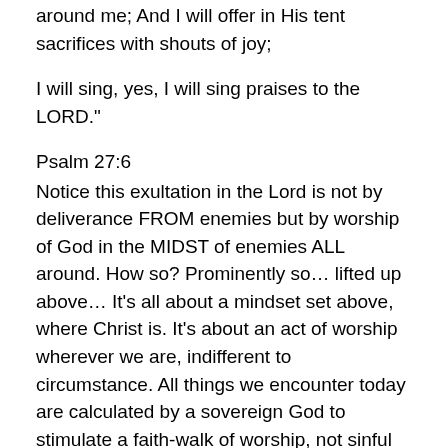around me; And I will offer in His tent sacrifices with shouts of joy;
I will sing, yes, I will sing praises to the LORD."
Psalm 27:6
Notice this exultation in the Lord is not by deliverance FROM enemies but by worship of God in the MIDST of enemies ALL around. How so? Prominently so… lifted up above… It's all about a mindset set above, where Christ is. It's about an act of worship wherever we are, indifferent to circumstance. All things we encounter today are calculated by a sovereign God to stimulate a faith-walk of worship, not sinful frustration, reactiveness nor retaliation. (How we doing on that? Hmmm?) Either our Heavenly Father works all things after the counsel of His will or He doesn't. I choose to believe a God who rules in the midst of the praises of His people. I bow low in His presence. And He